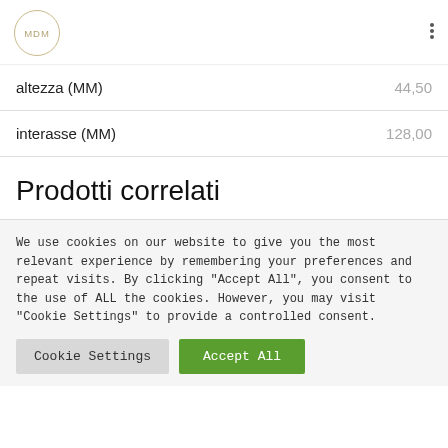MDM
altezza (MM)	44,50
interasse (MM)	128,00
Prodotti correlati
We use cookies on our website to give you the most relevant experience by remembering your preferences and repeat visits. By clicking "Accept All", you consent to the use of ALL the cookies. However, you may visit "Cookie Settings" to provide a controlled consent.